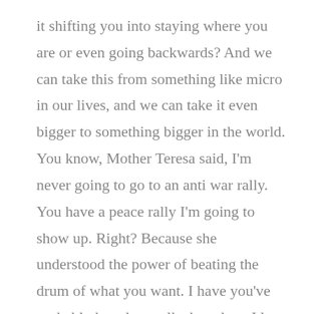it shifting you into staying where you are or even going backwards? And we can take this from something like micro in our lives, and we can take it even bigger to something bigger in the world. You know, Mother Teresa said, I'm never going to go to an anti war rally. You have a peace rally I'm going to show up. Right? Because she understood the power of beating the drum of what you want. I have you've probably heard me talk about how I love tic Tock.
I think people are so creative. People are magical, creative amazingness. But I do not